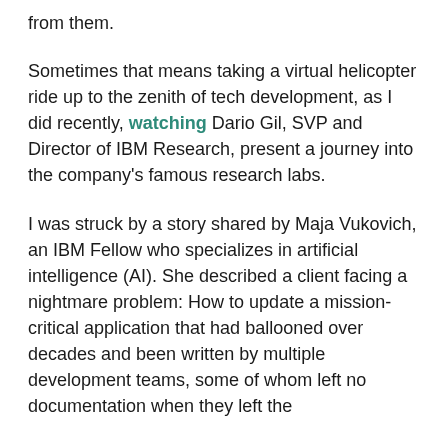from them.
Sometimes that means taking a virtual helicopter ride up to the zenith of tech development, as I did recently, watching Dario Gil, SVP and Director of IBM Research, present a journey into the company's famous research labs.
I was struck by a story shared by Maja Vukovich, an IBM Fellow who specializes in artificial intelligence (AI). She described a client facing a nightmare problem: How to update a mission-critical application that had ballooned over decades and been written by multiple development teams, some of whom left no documentation when they left the